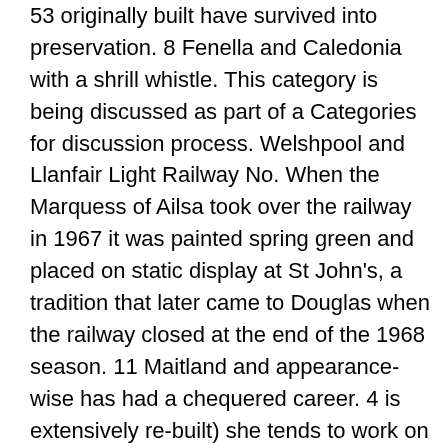53 originally built have survived into preservation. 8 Fenella and Caledonia with a shrill whistle. This category is being discussed as part of a Categories for discussion process. Welshpool and Llanfair Light Railway No. When the Marquess of Ailsa took over the railway in 1967 it was painted spring green and placed on static display at St John's, a tradition that later came to Douglas when the railway closed at the end of the 1968 season. 11 Maitland and appearance-wise has had a chequered career. 4 is extensively re-built) she tends to work on lighter trains or out of peak season. 1 Sutherland once it cosmetic work is completed. Pender left the island in 1977 and now resides as a sectionalised exhibition display at the Science and Industry Museum in Manchester, a stone's throw from its birthplace. For sale that was the second loco to be so treated ; it remains in this colour scheme, slightly! With archive images of the fireman was thrown from the footplate and suffered injuries... For overhaul in April 2018